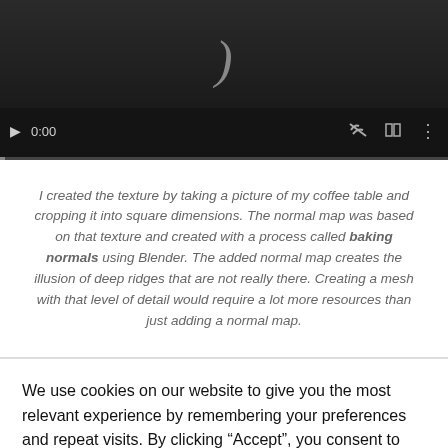[Figure (screenshot): Video player with dark background showing a closing parenthesis character, play controls showing 0:00, mute icon, fullscreen icon, and more options icon, with a progress bar at the bottom.]
I created the texture by taking a picture of my coffee table and cropping it into square dimensions. The normal map was based on that texture and created with a process called baking normals using Blender. The added normal map creates the illusion of deep ridges that are not really there. Creating a mesh with that level of detail would require a lot more resources than just adding a normal map.
We use cookies on our website to give you the most relevant experience by remembering your preferences and repeat visits. By clicking “Accept”, you consent to the use of ALL the cookies.
Cookie settings   ACCEPT